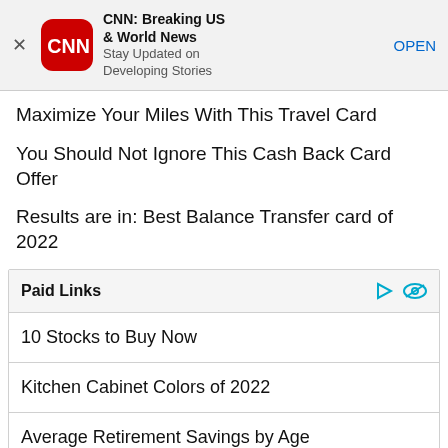[Figure (screenshot): CNN app advertisement banner with CNN logo, title 'CNN: Breaking US & World News', subtitle 'Stay Updated on Developing Stories', and OPEN button]
Maximize Your Miles With This Travel Card
You Should Not Ignore This Cash Back Card Offer
Results are in: Best Balance Transfer card of 2022
Paid Links
10 Stocks to Buy Now
Kitchen Cabinet Colors of 2022
Average Retirement Savings by Age
Trendy Dresses for Older Women